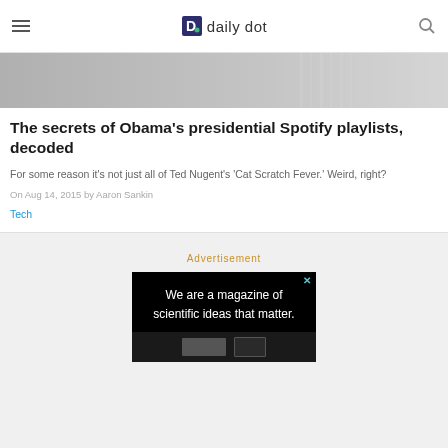daily dot
[Figure (photo): Partial photo of a person in a suit, cropped at top of article card]
The secrets of Obama’s presidential Spotify playlists, decoded
For some reason it's not just all of Ted Nugent's 'Cat Scratch Fever.' Weird, right?
On Aug 14, 2015 by Aaron Sankin
Tech
Advertisement
[Figure (screenshot): Advertisement banner with black background reading 'We are a magazine of scientific ideas that matter.']